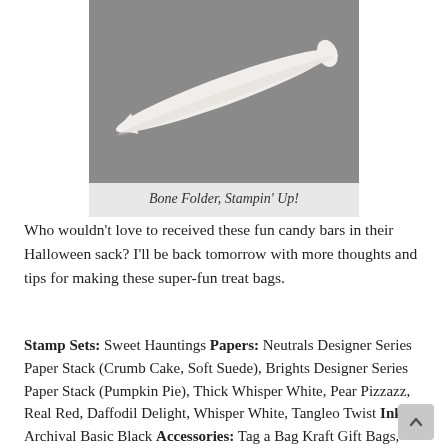[Figure (photo): Close-up photo of a white bone folder tool on a gray background]
Bone Folder, Stampin' Up!
Who wouldn't love to received these fun candy bars in their Halloween sack?  I'll be back tomorrow with more thoughts and tips for making these super-fun treat bags.
Stamp Sets: Sweet Hauntings Papers: Neutrals Designer Series Paper Stack (Crumb Cake, Soft Suede), Brights Designer Series Paper Stack (Pumpkin Pie), Thick Whisper White, Pear Pizzazz, Real Red, Daffodil Delight, Whisper White, Tangleo Twist Inks: Archival Basic Black Accessories: Tag a Bag Kraft Gift Bags, Linen Thread, Bone Folder, Extra Large Oval punch, Stampin' Dimensionals